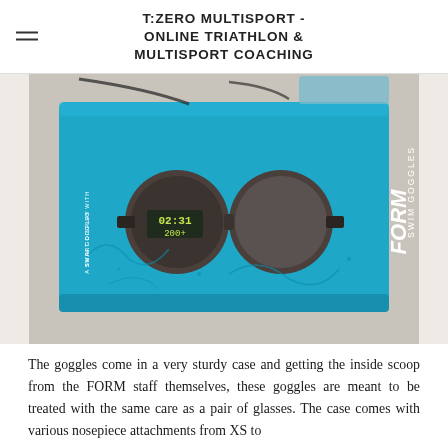T:ZERO MULTISPORT - ONLINE TRIATHLON & MULTISPORT COACHING
[Figure (photo): Photo of FORM Swim Goggles product box on a table. The box is bright blue with the FORM logo on the right side and shows a pair of swim goggles with a small display showing '02:31' and '200+'. The left side of the box reads 'SWIM GOGGLES WITH A SMART DISPLAY'. Other swimming accessories are visible in the background.]
The goggles come in a very sturdy case and getting the inside scoop from the FORM staff themselves, these goggles are meant to be treated with the same care as a pair of glasses. The case comes with various nosepiece attachments from XS to